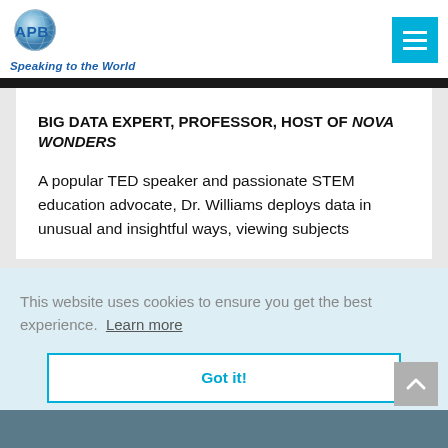[Figure (logo): APB Speakers logo — globe with APB text and tagline 'Speaking to the World']
[Figure (other): Hamburger menu button (cyan/teal square with three white horizontal lines)]
BIG DATA EXPERT, PROFESSOR, HOST OF NOVA WONDERS
A popular TED speaker and passionate STEM education advocate, Dr. Williams deploys data in unusual and insightful ways, viewing subjects
This website uses cookies to ensure you get the best experience. Learn more
Got it!